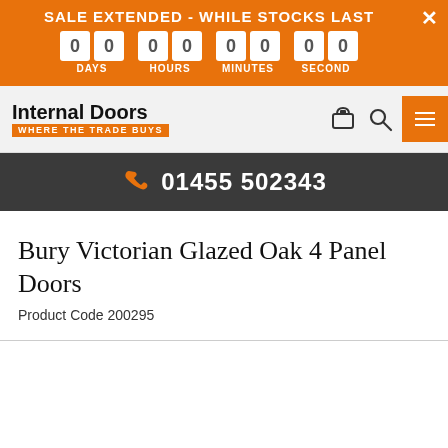SALE EXTENDED - WHILE STOCKS LAST
00 DAYS  00 HOURS  00 MINUTES  00 SECOND
[Figure (logo): Internal Doors logo with tagline WHERE THE TRADE BUYS on orange background]
01455 502343
Bury Victorian Glazed Oak 4 Panel Doors
Product Code 200295